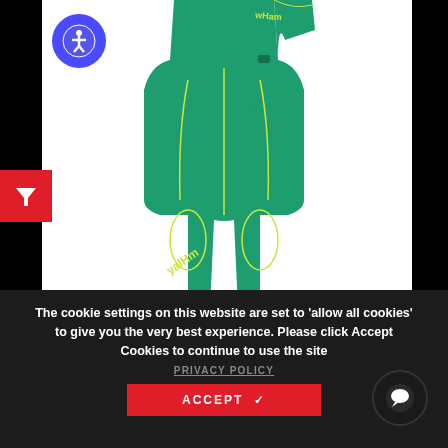[Figure (photo): Green wetsuit with yellow/lime accent seams and branding, shown on a model from torso down to ankles, against white background. Dark border on sides.]
The cookie settings on this website are set to 'allow all cookies' to give you the very best experience. Please click Accept Cookies to continue to use the site
PRIVACY POLICY
ACCEPT ✓